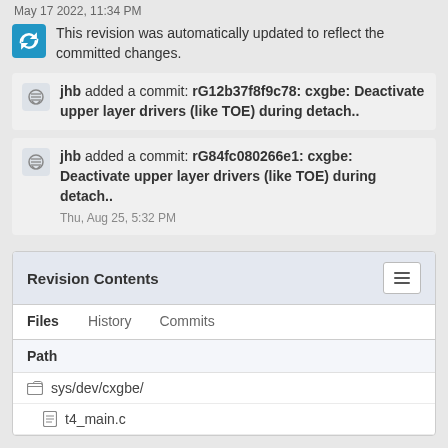May 17 2022, 11:34 PM
This revision was automatically updated to reflect the committed changes.
jhb added a commit: rG12b37f8f9c78: cxgbe: Deactivate upper layer drivers (like TOE) during detach..
jhb added a commit: rG84fc080266e1: cxgbe: Deactivate upper layer drivers (like TOE) during detach..
Thu, Aug 25, 5:32 PM
Revision Contents
Files
History
Commits
Path
sys/dev/cxgbe/
t4_main.c